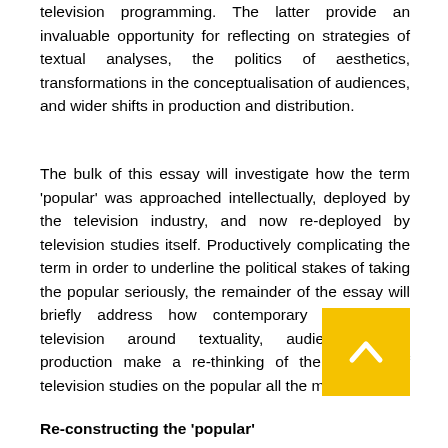television programming. The latter provide an invaluable opportunity for reflecting on strategies of textual analyses, the politics of aesthetics, transformations in the conceptualisation of audiences, and wider shifts in production and distribution.
The bulk of this essay will investigate how the term 'popular' was approached intellectually, deployed by the television industry, and now re-deployed by television studies itself. Productively complicating the term in order to underline the political stakes of taking the popular seriously, the remainder of the essay will briefly address how contemporary changes in television around textuality, audiences, and production make a re-thinking of the reliance of television studies on the popular all the more urgent.
Re-constructing the 'popular'